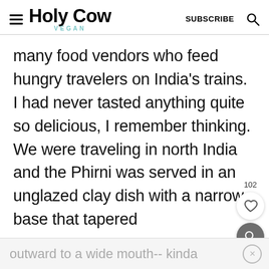Holy Cow Vegan — SUBSCRIBE
many food vendors who feed hungry travelers on India's trains. I had never tasted anything quite so delicious, I remember thinking. We were traveling in north India and the Phirni was served in an unglazed clay dish with a narrow base that tapered
outward to a wide mouth-- kinda